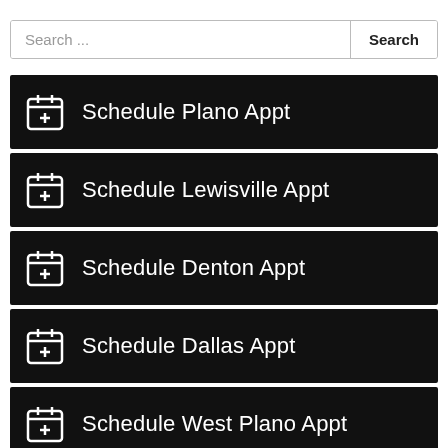Search ...
Schedule Plano Appt
Schedule Lewisville Appt
Schedule Denton Appt
Schedule Dallas Appt
Schedule West Plano Appt
Schedule Highland Village Appt
Schedule McKinney Appt